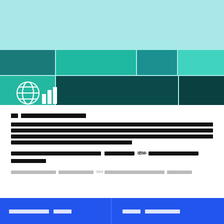[Figure (illustration): Top banner graphic with light teal/cyan background and a mosaic grid of teal and dark teal colored squares at the bottom. A white globe and bar chart icon appears at bottom-left of the mosaic.]
[REDACTED SECTION TITLE]
[REDACTED body text paragraph 1 with reference to (REDACTED). Also, additional redacted text about redacted topics.]
[REDACTED body text paragraph 2 referencing IBM-[REDACTED] platform details.]
[REDACTED footnote text referencing IBM and additional redacted content]
[REDACTED BUTTON 1] | [REDACTED BUTTON 2]